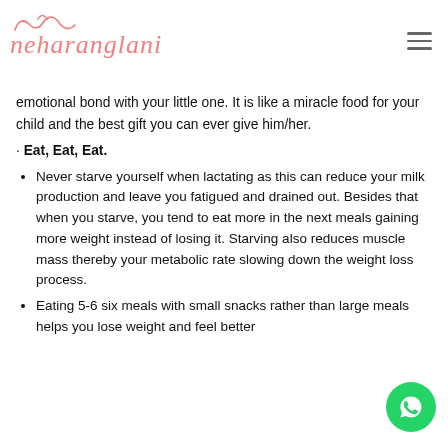neha ranglani logo and hamburger menu
emotional bond with your little one. It is like a miracle food for your child and the best gift you can ever give him/her.
· Eat, Eat, Eat.
Never starve yourself when lactating as this can reduce your milk production and leave you fatigued and drained out. Besides that when you starve, you tend to eat more in the next meals gaining more weight instead of losing it. Starving also reduces muscle mass thereby your metabolic rate slowing down the weight loss process.
Eating 5-6 six meals with small snacks rather than large meals helps you lose weight and feel better